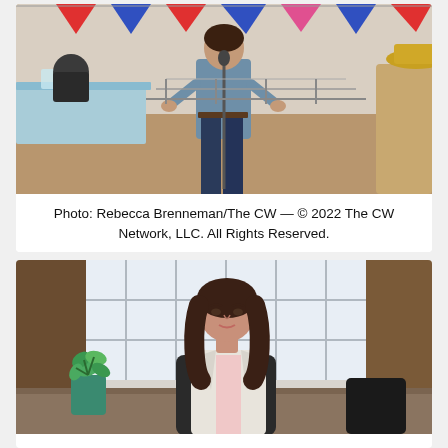[Figure (photo): A woman in a denim shirt and dark jeans stands speaking at a microphone at an indoor event. Red and blue bunting flags hang in the background. A table with a light blue tablecloth is to her left, and another person in a hat is partially visible on the right.]
Photo: Rebecca Brenneman/The CW — © 2022 The CW Network, LLC. All Rights Reserved.
[Figure (photo): A woman with long dark hair wearing a light blazer sits at a desk in a modern bright office. A small green plant in a teal pot is visible to her left. She looks forward with a neutral expression.]